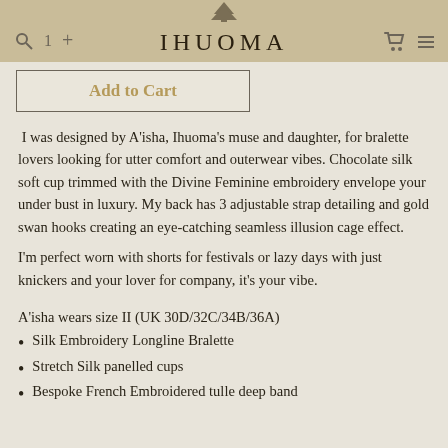IHUOMA
Add to Cart
I was designed by A'isha, Ihuoma's muse and daughter, for bralette lovers looking for utter comfort and outerwear vibes. Chocolate silk soft cup trimmed with the Divine Feminine embroidery envelope your under bust in luxury. My back has 3 adjustable strap detailing and gold swan hooks creating an eye-catching seamless illusion cage effect.
I'm perfect worn with shorts for festivals or lazy days with just knickers and your lover for company, it's your vibe.
A'isha wears size II (UK 30D/32C/34B/36A)
Silk Embroidery Longline Bralette
Stretch Silk panelled cups
Bespoke French Embroidered tulle deep band